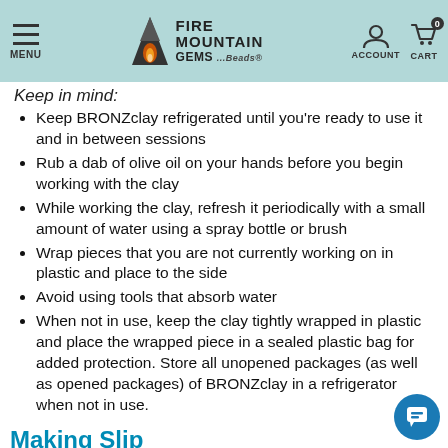MENU | FIRE MOUNTAIN GEMS ...Beads® | ACCOUNT | CART 0
Keep in mind:
Keep BRONZclay refrigerated until you're ready to use it and in between sessions
Rub a dab of olive oil on your hands before you begin working with the clay
While working the clay, refresh it periodically with a small amount of water using a spray bottle or brush
Wrap pieces that you are not currently working on in plastic and place to the side
Avoid using tools that absorb water
When not in use, keep the clay tightly wrapped in plastic and place the wrapped piece in a sealed plastic bag for added protection. Store all unopened packages (as well as opened packages) of BRONZclay in a refrigerator when not in use.
Making Slip
Slip will quickly become one of your favorite tools when working with BRONZclay, and it's easy to make. Simply mix